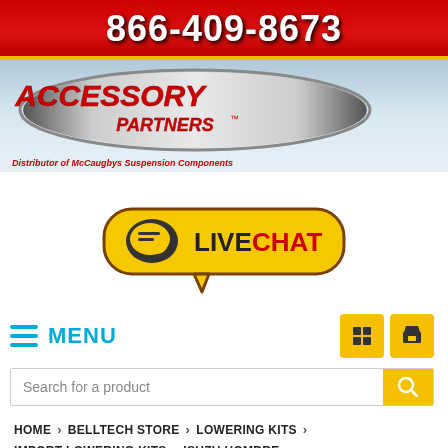866-409-8673
[Figure (logo): Accessory Partners logo with oval chrome border and red text, subtitle: Distributor of McCaugbys Suspension Components]
[Figure (other): Live Chat button — yellow rounded rectangle with speech bubble icon and text LIVE CHAT]
MENU
Search for a product
HOME > BELLTECH STORE > LOWERING KITS > IMPORT LOWERING KITS > ISUZU HOMBRE > 1996-2003 ISUZU HOMBRE (6CYL) 2-3" F / 2" R LOWERING K